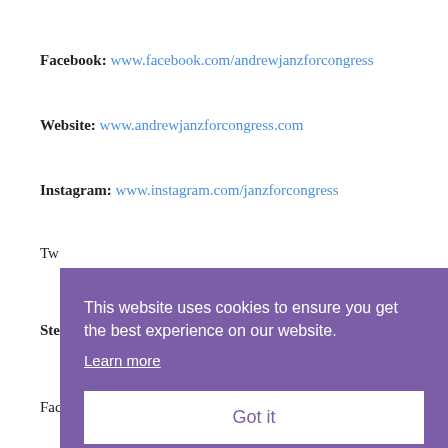Facebook: www.facebook.com/andrewjanzforcongress
Website: www.andrewjanzforcongress.com
Instagram: www.instagram.com/janzforcongress
Tw…
Ste…
Fac…
[Figure (screenshot): Cookie consent overlay with purple background. Text: 'This website uses cookies to ensure you get the best experience on our website. Learn more' and a 'Got it' button with white background.]